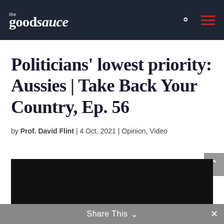the goodsauce
Politicians' lowest priority: Aussies | Take Back Your Country, Ep. 56
by Prof. David Flint | 4 Oct, 2021 | Opinion, Video
[Figure (screenshot): Dark video thumbnail area]